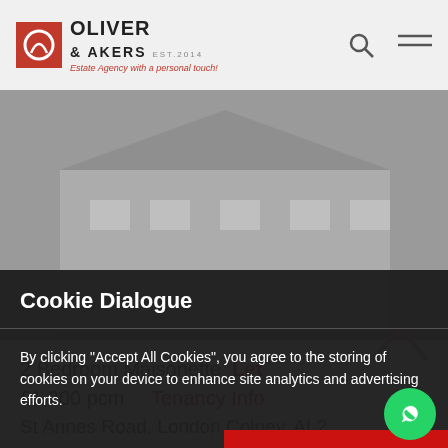[Figure (logo): Oliver & Akers estate agency logo with red square icon and tagline 'Estate Agency with a personal touch!']
[Figure (photo): Greyed-out background photo of a residential property (maisonette building)]
Cookie Dialogue
By clicking “Accept All Cookies”, you agree to the storing of cookies on your device to enhance site analytics and advertising efforts.
Cookie Settings
Accept All Cookies
2 Bedroom Maisonette  Let
£1,200 pcm    Tenancy Info
St Annes Road, London Colney, AL2